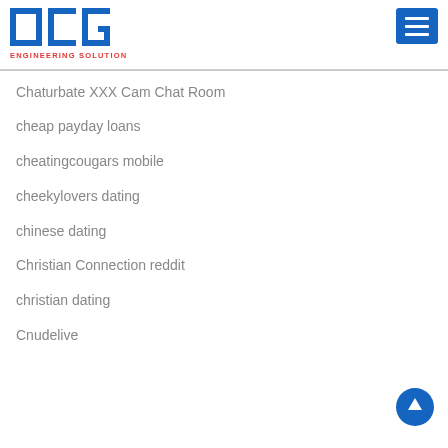[Figure (logo): OCC Engineering Solution Partner logo in blue with red tagline text]
Chaturbate XXX Cam Chat Room
cheap payday loans
cheatingcougars mobile
cheekylovers dating
chinese dating
Christian Connection reddit
christian dating
Cnudelive